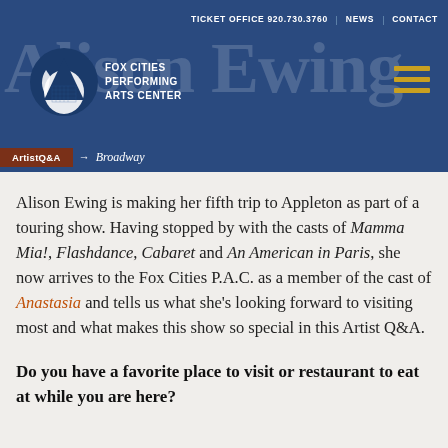TICKET OFFICE 920.730.3760   NEWS   CONTACT
Alison Ewing
[Figure (logo): Fox Cities Performing Arts Center logo — stylized geometric shape with white triangular forms, text reads FOX CITIES PERFORMING ARTS CENTER]
ArtistQ&A → Broadway
Alison Ewing is making her fifth trip to Appleton as part of a touring show. Having stopped by with the casts of Mamma Mia!, Flashdance, Cabaret and An American in Paris, she now arrives to the Fox Cities P.A.C. as a member of the cast of Anastasia and tells us what she's looking forward to visiting most and what makes this show so special in this Artist Q&A.
Do you have a favorite place to visit or restaurant to eat at while you are here?